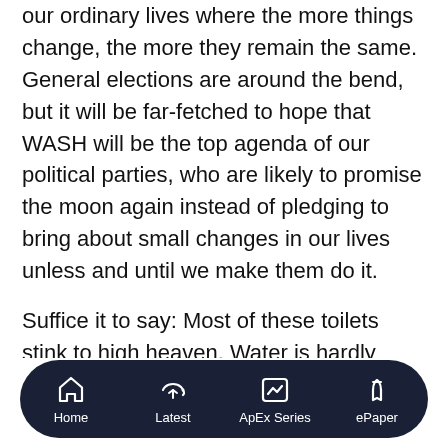our ordinary lives where the more things change, the more they remain the same. General elections are around the bend, but it will be far-fetched to hope that WASH will be the top agenda of our political parties, who are likely to promise the moon again instead of pledging to bring about small changes in our lives unless and until we make them do it.
Suffice it to say: Most of these toilets stink to high heaven. Water is hardly available in these toilets and brave sanitary staff stationed there are without personal protective equipment (PPE). On more than one occasion, yours truly had no option but to return
Home | Latest | ApEx Series | ePaper